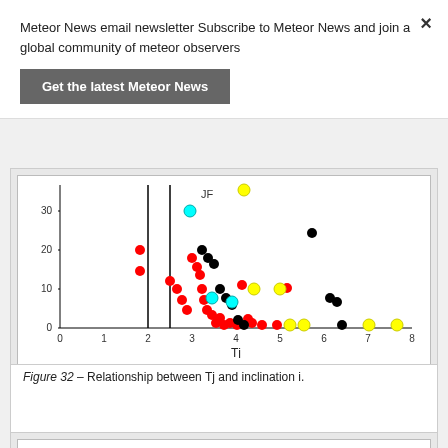Meteor News email newsletter Subscribe to Meteor News and join a global community of meteor observers
Get the latest Meteor News
[Figure (continuous-plot): Scatter plot showing relationship between Tj (x-axis, 0-8) and inclination i (y-axis, 0-35). Contains colored dots (red, black, cyan, yellow) with a vertical line at Tj=2 and another at Tj≈2.5. A 'JF' label appears near the top. Points cluster mostly between Tj=2 and 5.]
Figure 32 – Relationship between Tj and inclination i.
[Figure (continuous-plot): Partial view of a second chart titled 'q-Q  Irons50-80(N=38)']